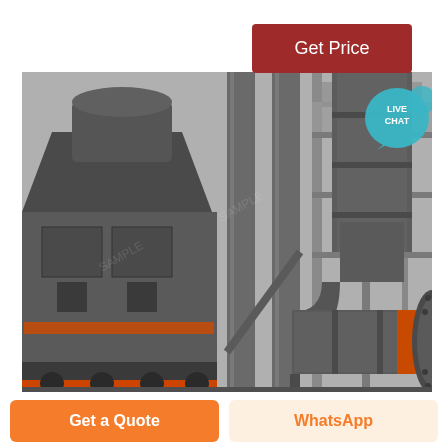[Figure (other): Button: Get Price on dark red background, top right corner]
[Figure (photo): Industrial machinery photograph showing large metal pipes, ducts, flanges and heavy equipment in a factory/mill setting. Dark grey metallic structures with orange accent ring on pipe joint.]
NELSON MACH
[Figure (other): Get a Quote button (orange) and WhatsApp button (light orange/cream) at the bottom of the page]